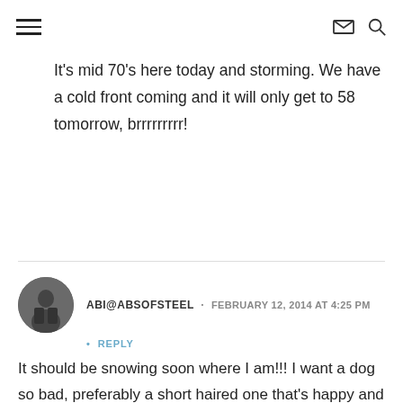[hamburger menu icon] [envelope icon] [search icon]
It's mid 70's here today and storming. We have a cold front coming and it will only get to 58 tomorrow, brrrrrrrrr!
ABI@ABSOFSTEEL · FEBRUARY 12, 2014 AT 4:25 PM · REPLY
It should be snowing soon where I am!!! I want a dog so bad, preferably a short haired one that's happy and energetic. I'd love to have a doggy running buddy.